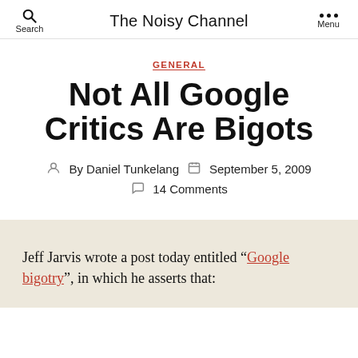Search | The Noisy Channel | Menu
GENERAL
Not All Google Critics Are Bigots
By Daniel Tunkelang  September 5, 2009  14 Comments
Jeff Jarvis wrote a post today entitled “Google bigotry”, in which he asserts that: